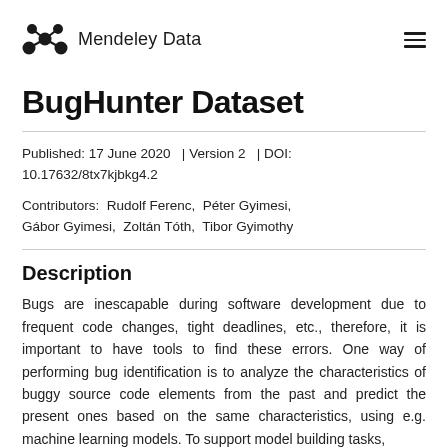Mendeley Data
BugHunter Dataset
Published: 17 June 2020  | Version 2  | DOI: 10.17632/8tx7kjbkg4.2
Contributors:  Rudolf Ferenc,  Péter Gyimesi,  Gábor Gyimesi,  Zoltán Tóth,  Tibor Gyimothy
Description
Bugs are inescapable during software development due to frequent code changes, tight deadlines, etc., therefore, it is important to have tools to find these errors. One way of performing bug identification is to analyze the characteristics of buggy source code elements from the past and predict the present ones based on the same characteristics, using e.g. machine learning models. To support model building tasks,